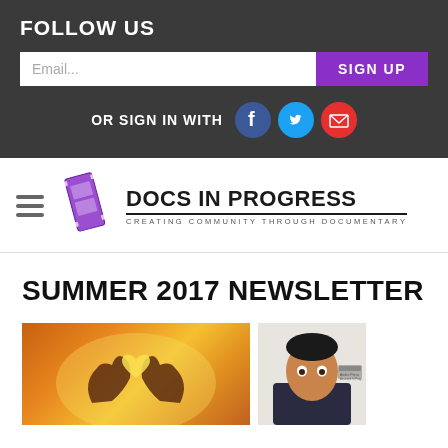FOLLOW US
Email...
SIGN UP
OR SIGN IN WITH
[Figure (logo): Docs In Progress logo with film strip icon and tagline CREATING COMMUNITY THROUGH DOCUMENTARY]
SUMMER 2017 NEWSLETTER
[Figure (photo): Two hands forming a heart shape against a warm golden sunset background]
[Figure (photo): A man looking surprised or excited at a name badge on a wall]